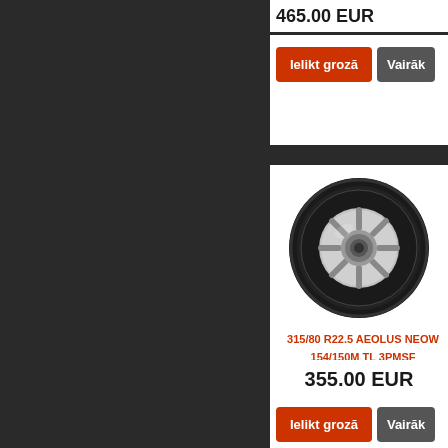465.00 EUR
Ielikt grozā
Vairāk
[Figure (photo): Aeolus truck tire on a silver wheel rim, viewed from a slight angle, showing tread pattern on a white background]
315/80 R22.5 AEOLUS NEOW 154/150M TL 3PMSF
355.00 EUR
Ielikt grozā
Vairāk